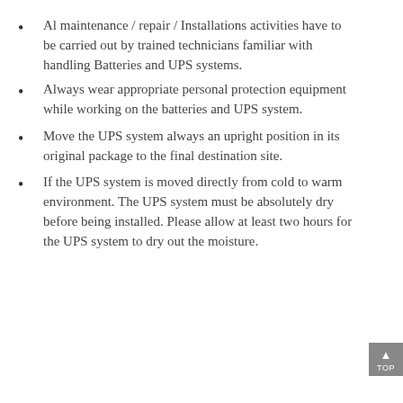Al maintenance / repair / Installations activities have to be carried out by trained technicians familiar with handling Batteries and UPS systems.
Always wear appropriate personal protection equipment while working on the batteries and UPS system.
Move the UPS system always an upright position in its original package to the final destination site.
If the UPS system is moved directly from cold to warm environment. The UPS system must be absolutely dry before being installed. Please allow at least two hours for the UPS system to dry out the moisture.